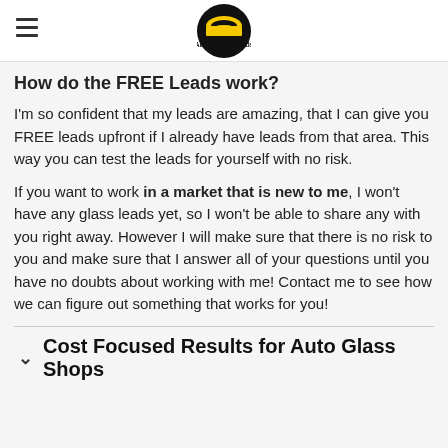Auto Glass Leads
How do the FREE Leads work?
I'm so confident that my leads are amazing, that I can give you FREE leads upfront if I already have leads from that area. This way you can test the leads for yourself with no risk.
If you want to work in a market that is new to me, I won't have any glass leads yet, so I won't be able to share any with you right away. However I will make sure that there is no risk to you and make sure that I answer all of your questions until you have no doubts about working with me! Contact me to see how we can figure out something that works for you!
Cost Focused Results for Auto Glass Shops